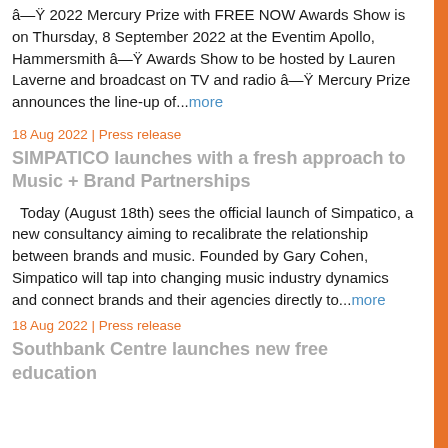â—Ÿ 2022 Mercury Prize with FREE NOW Awards Show is on Thursday, 8 September 2022 at the Eventim Apollo, Hammersmith â—Ÿ Awards Show to be hosted by Lauren Laverne and broadcast on TV and radio â—Ÿ Mercury Prize announces the line-up of...more
18 Aug 2022 | Press release
SIMPATICO launches with a fresh approach to Music + Brand Partnerships
Today (August 18th) sees the official launch of Simpatico, a new consultancy aiming to recalibrate the relationship between brands and music. Founded by Gary Cohen, Simpatico will tap into changing music industry dynamics and connect brands and their agencies directly to...more
18 Aug 2022 | Press release
Southbank Centre launches new free education